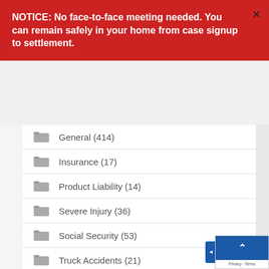NOTICE: No face-to-face meeting needed. You can remain safely in your home from case signup to settlement.
General (414)
Insurance (17)
Product Liability (14)
Severe Injury (36)
Social Security (53)
Truck Accidents (21)
Wrongful Death (9)